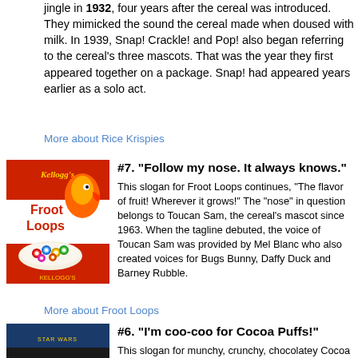jingle in 1932, four years after the cereal was introduced. They mimicked the sound the cereal made when doused with milk. In 1939, Snap! Crackle! and Pop! also began referring to the cereal's three mascots. That was the year they first appeared together on a package. Snap! had appeared years earlier as a solo act.
More about Rice Krispies
[Figure (photo): Kellogg's Froot Loops cereal box with Toucan Sam mascot]
#7. "Follow my nose. It always knows."
This slogan for Froot Loops continues, "The flavor of fruit! Wherever it grows!" The "nose" in question belongs to Toucan Sam, the cereal's mascot since 1963. When the tagline debuted, the voice of Toucan Sam was provided by Mel Blanc who also created voices for Bugs Bunny, Daffy Duck and Barney Rubble.
More about Froot Loops
[Figure (photo): Cocoa Puffs cereal box with Sonny the Cuckoo Bird mascot]
#6. "I'm coo-coo for Cocoa Puffs!"
This slogan for munchy, crunchy, chocolatey Cocoa Puffs was first heard in 1963. It was delivered by Sonny the Cuckoo Bird. In TV ads, the animated bird would go absolutely bonkers